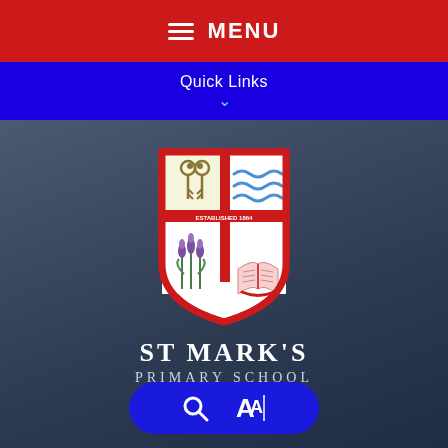MENU
Quick Links
[Figure (logo): St Mark's Primary School crest/shield with four quadrants: crossed keys (top-left), blue waves (top-right), 'ESTABLISHED 1864' banner across middle, purple lavender flowers (bottom-left), open book (bottom-right). Red shield outline.]
ST MARK'S PRIMARY SCHOOL